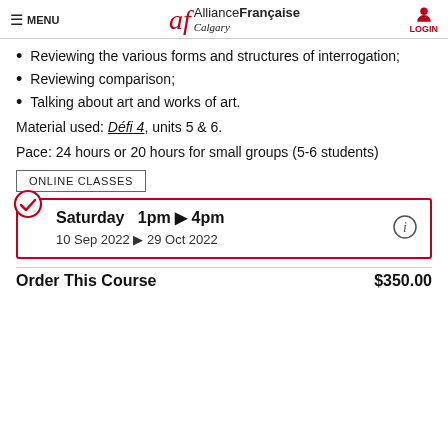MENU | Alliance Française Calgary | LOGIN
Reviewing the various forms and structures of interrogation;
Reviewing comparison;
Talking about art and works of art.
Material used: Défi 4, units 5 & 6.
Pace: 24 hours or 20 hours for small groups (5-6 students)
ONLINE CLASSES
Saturday  1pm ▶ 4pm
10 Sep 2022 ▶ 29 Oct 2022
Order This Course